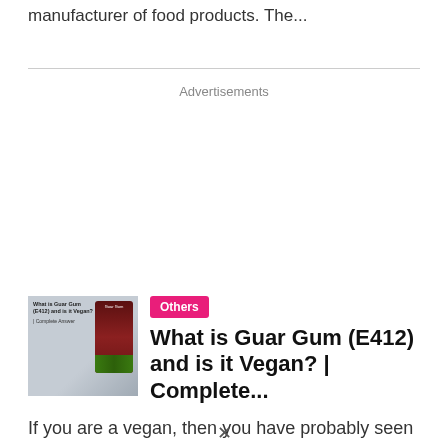manufacturer of food products. The...
Advertisements
[Figure (photo): Thumbnail image for article about Guar Gum E412, showing a package of guar gum product on a grey background with article title text]
Others
What is Guar Gum (E412) and is it Vegan? | Complete...
If you are a vegan, then you have probably seen the E412 ingredient in food products